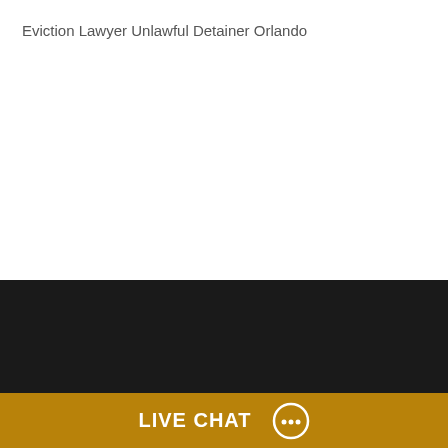Eviction Lawyer Unlawful Detainer Orlando
The Jacobs Law Firm, a premier divorce, family law and civil litigation law firm based in Winter Park and Clermont Florida.
Call us for a consultation today! (407) 335-8113
Winter Park Office Address:
331 S. Wymore Road,
LIVE CHAT